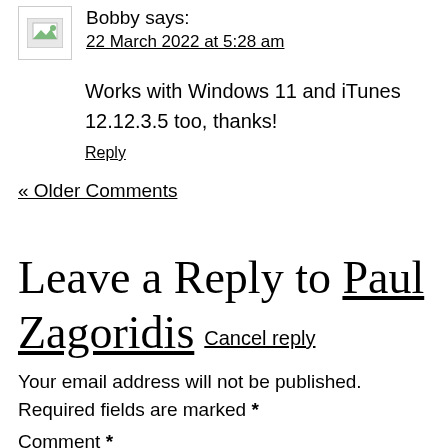[Figure (illustration): Avatar/profile image placeholder with broken image icon (small landscape icon)]
Bobby says:
22 March 2022 at 5:28 am
Works with Windows 11 and iTunes 12.12.3.5 too, thanks!
Reply
« Older Comments
Leave a Reply to Paul Zagoridis Cancel reply
Your email address will not be published. Required fields are marked *
Comment *